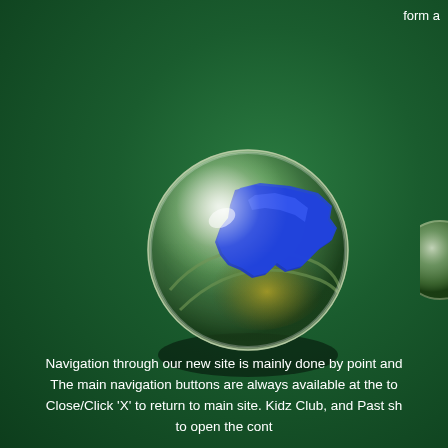form a
[Figure (photo): A glass marble with a blue swirl/shape inside, photographed from above on a dark green background. A partial view of another marble is visible at the far right edge.]
Navigation through our new site is mainly done by point and The main navigation buttons are always available at the to Close/Click 'X' to return to main site. Kidz Club, and Past sh to open the cont